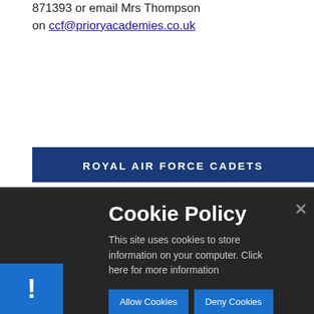871393 or email Mrs Thompson on ccf@prioryacademies.co.uk
ROYAL AIR FORCE CADETS
Cookie Policy
This site uses cookies to store information on your computer. Click here for more information
Allow Cookies   Deny Cookies